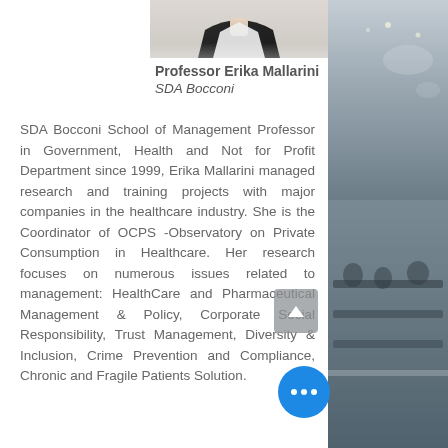[Figure (photo): Partial view of a person (Professor Erika Mallarini), cropped at top of page showing shoulders/upper body]
Professor Erika Mallarini
SDA Bocconi
SDA Bocconi School of Management Professor in Government, Health and Not for Profit Department since 1999, Erika Mallarini managed research and training projects with major companies in the healthcare industry. She is the Coordinator of OCPS -Observatory on Private Consumption in Healthcare. Her research focuses on numerous issues related to management: HealthCare and Pharmaceutical Management & Policy, Corporate Social Responsibility, Trust Management, Diversity & Inclusion, Crime Prevention and Compliance, Chronic and Fragile Patients Solution.
[Figure (photo): Conference room / auditorium scene visible on right side of page as background]